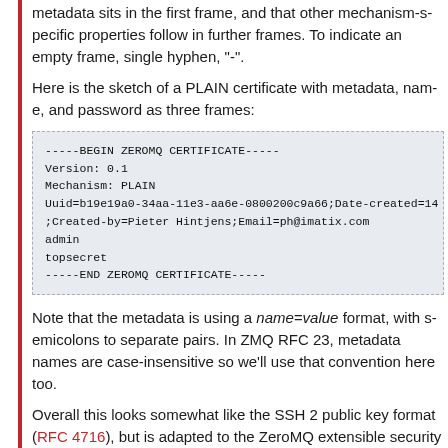metadata sits in the first frame, and that other mechanism-specific properties follow in further frames. To indicate an empty frame, single hyphen, "-".
Here is the sketch of a PLAIN certificate with metadata, name, and password as three frames:
[Figure (other): Code block showing a ZEROMQ CERTIFICATE example with BEGIN/END markers, Version, Mechanism, Uuid, Date-created, Created-by, Email fields, admin username, and topsecret password.]
Note that the metadata is using a name=value format, with semicolons to separate pairs. In ZMQ RFC 23, metadata names are case-insensitive so we'll use that convention here too.
Overall this looks somewhat like the SSH 2 public key format (RFC 4716), but is adapted to the ZeroMQ extensible security model. Unlike RFC 4716 we do not use a blank line between headers and